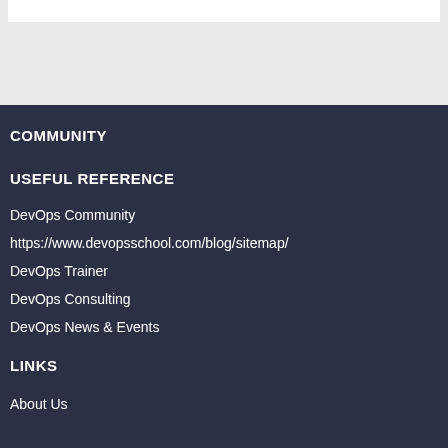COMMUNITY
USEFUL REFERENCE
DevOps Community
https://www.devopsschool.com/blog/sitemap/
DevOps Trainer
DevOps Consulting
DevOps News & Events
LINKS
About Us